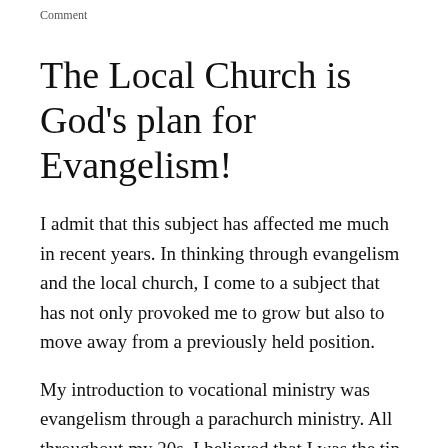Comment
The Local Church is God's plan for Evangelism!
I admit that this subject has affected me much in recent years. In thinking through evangelism and the local church, I come to a subject that has not only provoked me to grow but also to move away from a previously held position.
My introduction to vocational ministry was evangelism through a parachurch ministry. All throughout my 20s, I believed that I was the tip